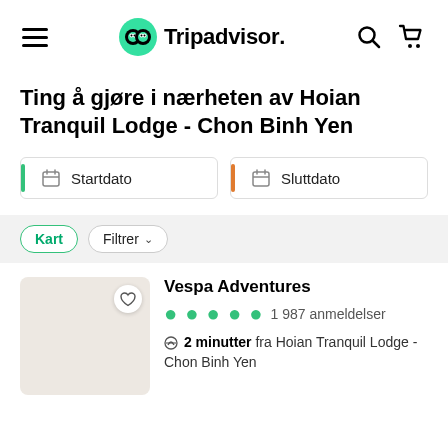Tripadvisor navigation bar with hamburger menu, Tripadvisor logo, search icon, and cart icon
Ting å gjøre i nærheten av Hoian Tranquil Lodge - Chon Binh Yen
Startdato | Sluttdato
Kart  Filtrer
Vespa Adventures
1 987 anmeldelser
2 minutter fra Hoian Tranquil Lodge - Chon Binh Yen